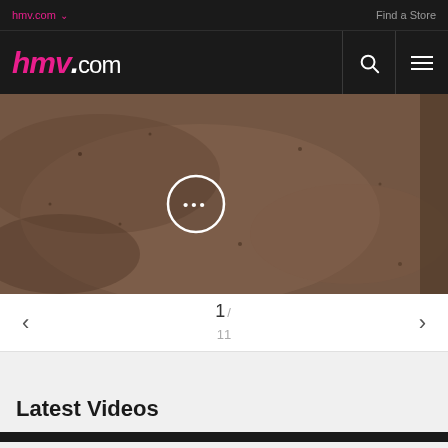hmv.com  Find a Store
[Figure (screenshot): hmv.com website header with pink italic logo 'hmv.com' on dark background with search and menu icons]
[Figure (photo): Close-up textured image (album cover or similar) shown in a carousel, with a white circle icon containing three dots (ellipsis) overlay in the center]
1 / 11
Latest Videos